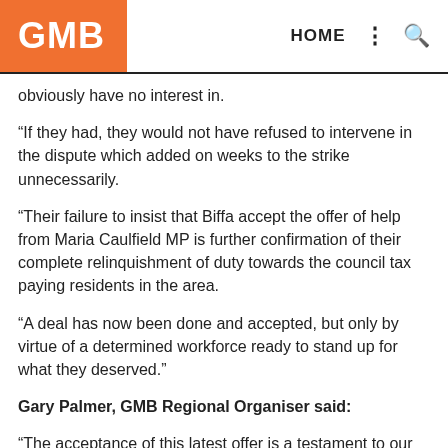GMB | HOME
obviously have no interest in.
“If they had, they would not have refused to intervene in the dispute which added on weeks to the strike unnecessarily.
“Their failure to insist that Biffa accept the offer of help from Maria Caulfield MP is further confirmation of their complete relinquishment of duty towards the council tax paying residents in the area.
“A deal has now been done and accepted, but only by virtue of a determined workforce ready to stand up for what they deserved.”
Gary Palmer, GMB Regional Organiser said:
“The acceptance of this latest offer is a testament to our